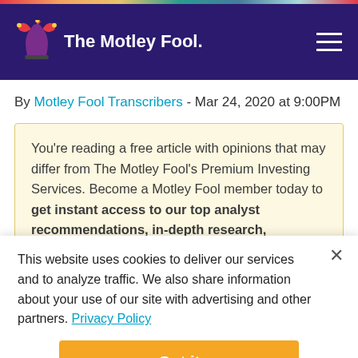[Figure (logo): The Motley Fool logo with jester hat on dark purple navigation bar]
By Motley Fool Transcribers - Mar 24, 2020 at 9:00PM
You’re reading a free article with opinions that may differ from The Motley Fool’s Premium Investing Services. Become a Motley Fool member today to get instant access to our top analyst recommendations, in-depth research, investing resources, and more. Learn More
This website uses cookies to deliver our services and to analyze traffic. We also share information about your use of our site with advertising and other partners. Privacy Policy
Got it
Cookie Settings